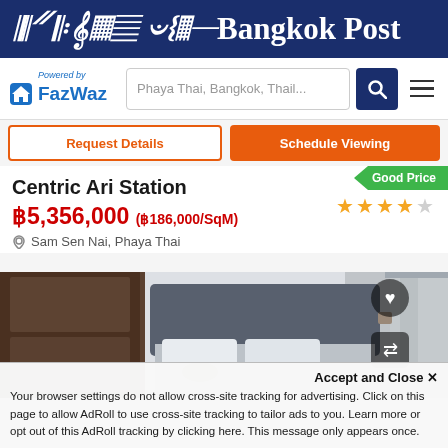Bangkok Post
[Figure (logo): FazWaz powered-by logo with house icon and search bar showing 'Phaya Thai, Bangkok, Thail...']
Request Details | Schedule Viewing
Centric Ari Station
Good Price
★★★★☆
฿5,356,000 (฿186,000/SqM)
Sam Sen Nai, Phaya Thai
[Figure (photo): Interior bedroom photo showing dark wood wardrobe panel on the left, dark grey upholstered headboard, white bedding with floral pattern, and grey curtains on the right with natural light.]
Accept and Close ×
Your browser settings do not allow cross-site tracking for advertising. Click on this page to allow AdRoll to use cross-site tracking to tailor ads to you. Learn more or opt out of this AdRoll tracking by clicking here. This message only appears once.